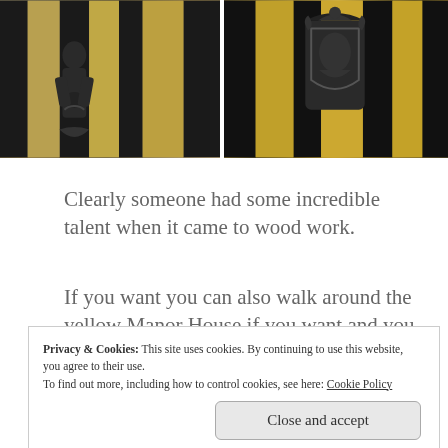[Figure (photo): Close-up photo of dark carved wooden architectural detail on a yellow and black timber-framed building, left panel]
[Figure (photo): Close-up photo of dark carved wooden crest or relief sculpture on a yellow and black timber-framed building, right panel]
Clearly someone had some incredible talent when it came to wood work.
If you want you can also walk around the yellow Manor House if you want and you might as well if you are visiting.
There is so much to explore, so much history to learn. Oh this place is incredible.
Privacy & Cookies: This site uses cookies. By continuing to use this website, you agree to their use.
To find out more, including how to control cookies, see here: Cookie Policy